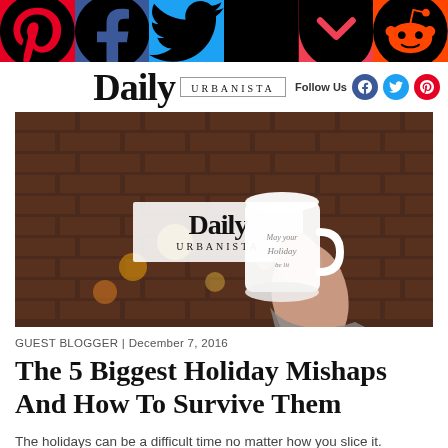Social share bar: Pinterest, Facebook, Twitter, Flipboard, Pocket, Reddit
Daily Urbanista | Follow Us (Facebook, Twitter, Pinterest)
[Figure (photo): A hand holding a white mug with holiday text in front of a brick wall with bokeh lights in the background]
GUEST BLOGGER | December 7, 2016
The 5 Biggest Holiday Mishaps And How To Survive Them
The holidays can be a difficult time no matter how you slice it. Whether your single OR in...